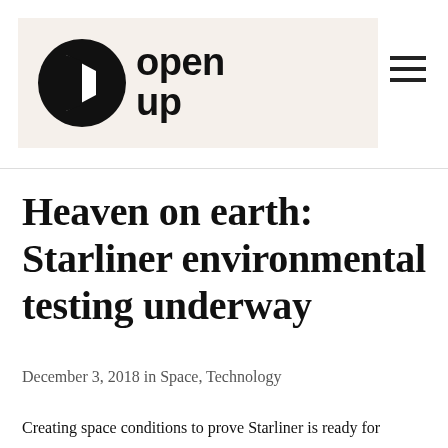[Figure (logo): Open Up logo: black circle with white book/door shape, followed by bold text 'open up' in two lines]
Heaven on earth: Starliner environmental testing underway
December 3, 2018 in Space, Technology
Creating space conditions to prove Starliner is ready for